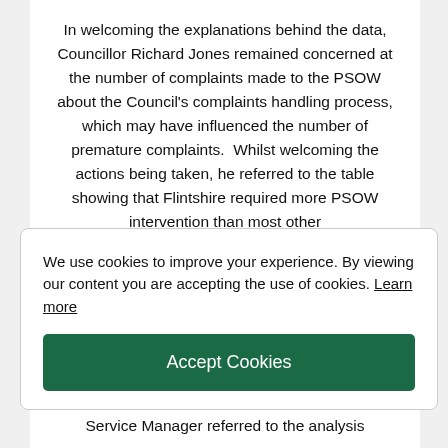In welcoming the explanations behind the data, Councillor Richard Jones remained concerned at the number of complaints made to the PSOW about the Council's complaints handling process, which may have influenced the number of premature complaints.  Whilst welcoming the actions being taken, he referred to the table showing that Flintshire required more PSOW intervention than most other
We use cookies to improve your experience. By viewing our content you are accepting the use of cookies. Learn more
Accept Cookies
Service Manager referred to the analysis